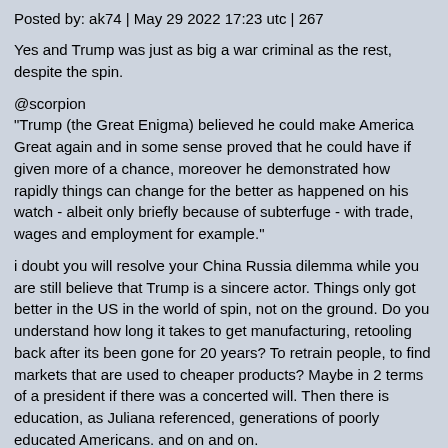Posted by: ak74 | May 29 2022 17:23 utc | 267
Yes and Trump was just as big a war criminal as the rest, despite the spin.
@scorpion
"Trump (the Great Enigma) believed he could make America Great again and in some sense proved that he could have if given more of a chance, moreover he demonstrated how rapidly things can change for the better as happened on his watch - albeit only briefly because of subterfuge - with trade, wages and employment for example."
i doubt you will resolve your China Russia dilemma while you are still believe that Trump is a sincere actor. Things only got better in the US in the world of spin, not on the ground. Do you understand how long it takes to get manufacturing, retooling back after its been gone for 20 years? To retrain people, to find markets that are used to cheaper products? Maybe in 2 terms of a president if there was a concerted will. Then there is education, as Juliana referenced, generations of poorly educated Americans. and on and on.
Now that you've explained your position in more detail, which I appreciate, I can see where you are stuck and 100% it ain't on on the sincerity of China or Russia. You will never understand and accept the different possibilities while still